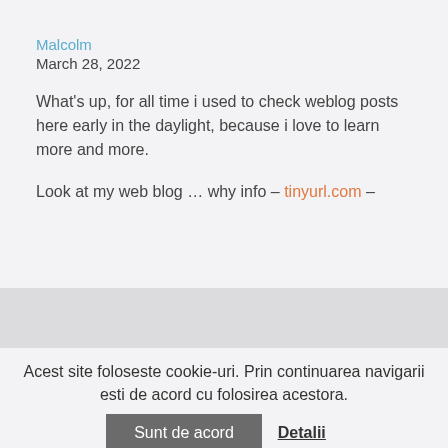Malcolm
March 28, 2022
What's up, for all time i used to check weblog posts here early in the daylight, because i love to learn more and more.
Look at my web blog … why info – tinyurl.com –
Acest site foloseste cookie-uri. Prin continuarea navigarii esti de acord cu folosirea acestora.